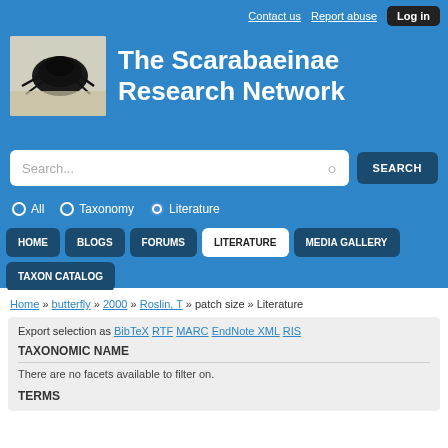The Scarabaeinae Research Network
Contact us   Report abuse   Log in
Search...  SEARCH  All  Taxonomy  Literature
HOME  BLOGS  FORUMS  LITERATURE  MEDIA GALLERY  TAXON CATALOG
Home » butterfly » 2000 » Roslin, T » patch size » Literature
Export selection as BibTeX RTF MARC EndNote XML RIS
TAXONOMIC NAME
There are no facets available to filter on.
TERMS